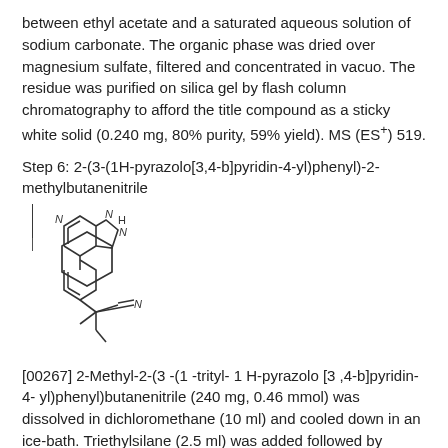between ethyl acetate and a saturated aqueous solution of sodium carbonate. The organic phase was dried over magnesium sulfate, filtered and concentrated in vacuo. The residue was purified on silica gel by flash column chromatography to afford the title compound as a sticky white solid (0.240 mg, 80% purity, 59% yield). MS (ES+) 519.
Step 6: 2-(3-(1H-pyrazolo[3,4-b]pyridin-4-yl)phenyl)-2-methylbutanenitrile
[Figure (engineering-diagram): Chemical structure of 2-(3-(1H-pyrazolo[3,4-b]pyridin-4-yl)phenyl)-2-methylbutanenitrile showing a bicyclic pyridine-pyrazole ring system connected to a phenyl ring bearing a 2-methylbutanenitrile substituent.]
[00267] 2-Methyl-2-(3-(1-trityl-1H-pyrazolo[3,4-b]pyridin-4-yl)phenyl)butanenitrile (240 mg, 0.46 mmol) was dissolved in dichloromethane (10 ml) and cooled down in an ice-bath. Triethylsilane (2.5 ml) was added followed by trifluoroacetic acid (2.5 ml). The resulting mixture was stirred at 0°C for 2 hours and then concentrated under reduced pressure. The residue was partitioned between